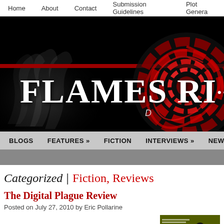Home | About | Contact | Submission Guidelines | Plot Genera...
[Figure (logo): Flames Rising website banner with smoke, red swirl logo, and large white text 'FLAMES RI...' on black background with red horizontal stripe]
BLOGS | FEATURES » | FICTION | INTERVIEWS » | NEWS » | R...
Categorized | Fiction, Reviews
The Digital Plague Review
Posted on July 27, 2010 by Eric Pollarine
[Figure (photo): Book cover thumbnail for The Digital Plague, dark yellow-green background with silhouette figure]